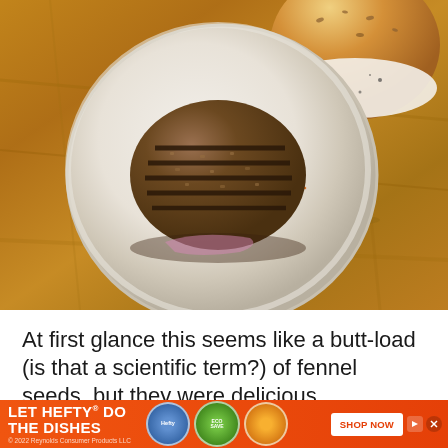[Figure (photo): Overhead view of a white plate with a grilled veggie/grain burger patty topped with shredded red cabbage coleslaw, on a golden-brown wooden surface. In the upper right, a bun top is visible with white cream/sauce. The plate has a rustic style.]
At first glance this seems like a butt-load (is that a scientific term?) of fennel seeds, but they were delicious
[Figure (infographic): Advertisement banner: orange/red background with text 'LET HEFTY DO THE DISHES' in white bold font. Shows Hefty product images and an orange product circle. Includes 'SHOP NOW' button on the right. Bottom text reads '© 2022 Reynolds Consumer Products LLC'. Has a right-pointing arrow icon and X close button.]